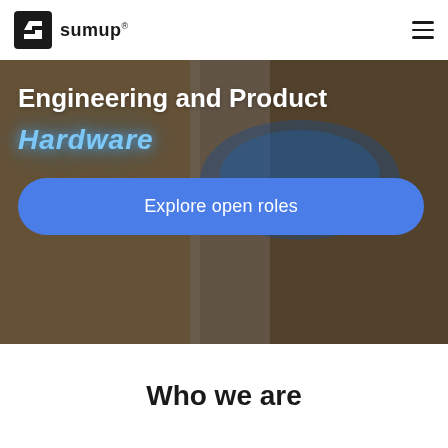sumup
[Figure (photo): Hero background photo showing a neon sign reading 'Hardware' in blue neon light on a concrete/wooden wall background, overlaid with white text 'Engineering and Product' and a blue rounded button 'Explore open roles']
Engineering and Product
Hardware
Explore open roles
Who we are